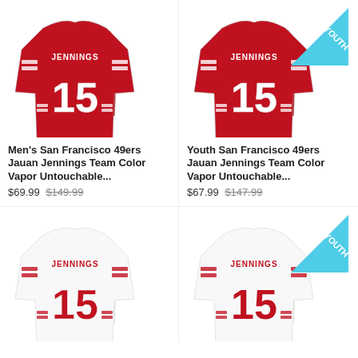[Figure (photo): Men's red San Francisco 49ers Jauan Jennings #15 Team Color Vapor Untouchable jersey product image]
Men's San Francisco 49ers Jauan Jennings Team Color Vapor Untouchable...
$69.99 $149.99
[Figure (photo): Youth red San Francisco 49ers Jauan Jennings #15 Team Color Vapor Untouchable jersey product image with YOUTH badge]
Youth San Francisco 49ers Jauan Jennings Team Color Vapor Untouchable...
$67.99 $147.99
[Figure (photo): Men's white San Francisco 49ers Jauan Jennings #15 jersey product image (partially visible)]
[Figure (photo): Youth white San Francisco 49ers Jauan Jennings #15 jersey product image with YOUTH badge (partially visible)]